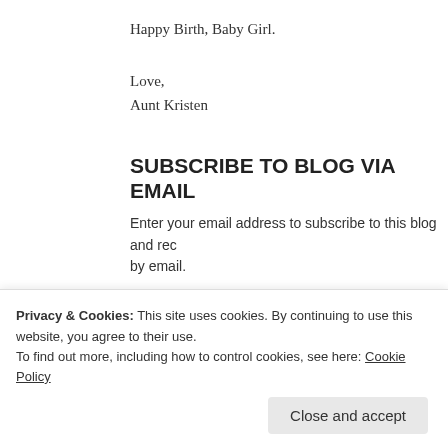Happy Birth, Baby Girl.
Love,
Aunt Kristen
SUBSCRIBE TO BLOG VIA EMAIL
Enter your email address to subscribe to this blog and receive notifications of new posts by email.
Privacy & Cookies: This site uses cookies. By continuing to use this website, you agree to their use.
To find out more, including how to control cookies, see here: Cookie Policy
Close and accept
2 Comments